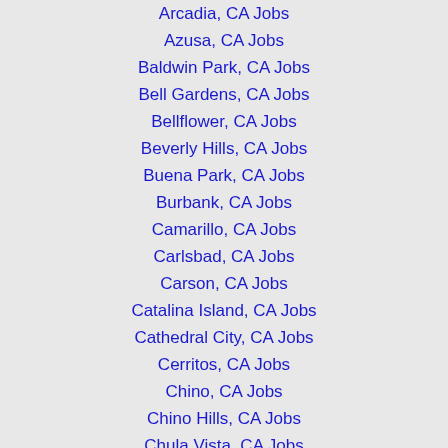Arcadia, CA Jobs
Azusa, CA Jobs
Baldwin Park, CA Jobs
Bell Gardens, CA Jobs
Bellflower, CA Jobs
Beverly Hills, CA Jobs
Buena Park, CA Jobs
Burbank, CA Jobs
Camarillo, CA Jobs
Carlsbad, CA Jobs
Carson, CA Jobs
Catalina Island, CA Jobs
Cathedral City, CA Jobs
Cerritos, CA Jobs
Chino, CA Jobs
Chino Hills, CA Jobs
Chula Vista, CA Jobs
Coachella, CA Jobs
Colton, CA Jobs